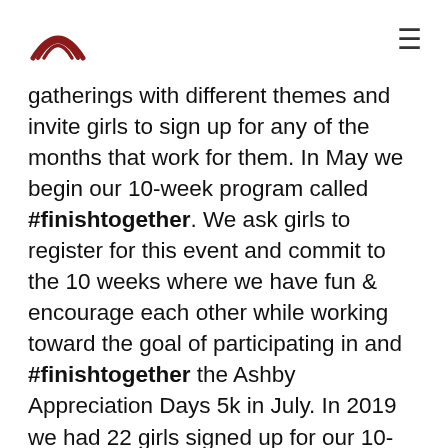[Logo] [Hamburger menu icon]
gatherings with different themes and invite girls to sign up for any of the months that work for them. In May we begin our 10-week program called #finishtogether. We ask girls to register for this event and commit to the 10 weeks where we have fun & encourage each other while working toward the goal of participating in and #finishtogether the Ashby Appreciation Days 5k in July. In 2019 we had 22 girls signed up for our 10-week program!
In 2020 our event looked different,